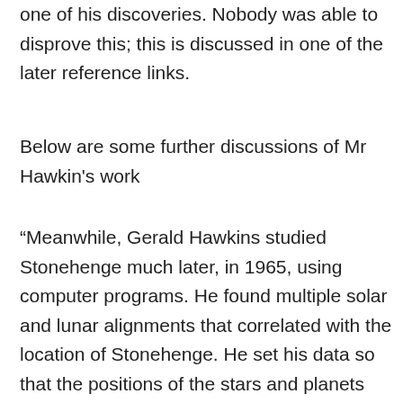one of his discoveries. Nobody was able to disprove this; this is discussed in one of the later reference links.
Below are some further discussions of Mr Hawkin's work
“Meanwhile, Gerald Hawkins studied Stonehenge much later, in 1965, using computer programs. He found multiple solar and lunar alignments that correlated with the location of Stonehenge. He set his data so that the positions of the stars and planets would match where they were in 1500 B.C., when he believed it was built, and found that 13 solar correlations and 11 lunar correlations matched up with the